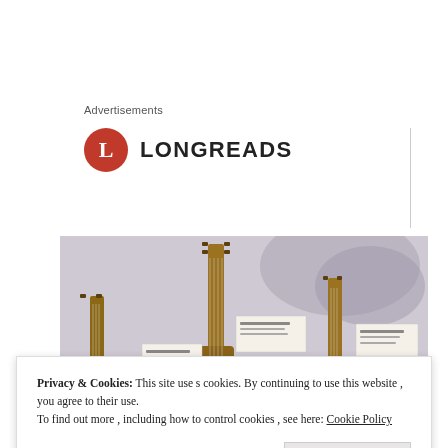Advertisements
[Figure (logo): Longreads logo: red circle with white letter L followed by the word LONGREADS in bold sans-serif]
[Figure (photo): Photo of ukuleles or small guitars displayed in a museum or gallery setting, hanging against a misty light background with informational labels attached]
Privacy & Cookies: This site uses cookies. By continuing to use this website, you agree to their use. To find out more, including how to control cookies, see here: Cookie Policy
Close and accept